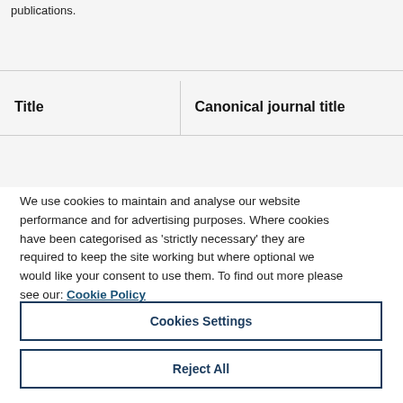publications.
| Title | Canonical journal title | Publi type |
| --- | --- | --- |
We use cookies to maintain and analyse our website performance and for advertising purposes. Where cookies have been categorised as 'strictly necessary' they are required to keep the site working but where optional we would like your consent to use them. To find out more please see our: Cookie Policy
Cookies Settings
Reject All